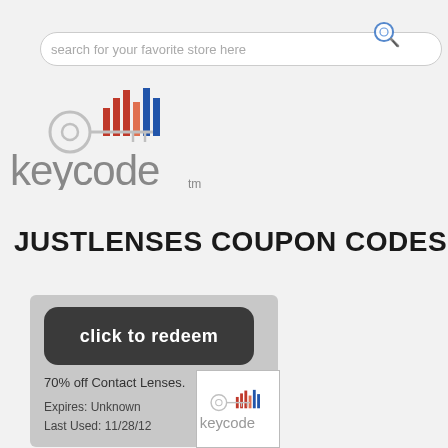[Figure (screenshot): Search bar with placeholder text 'search for your favorite store here' and magnifying glass icon]
[Figure (logo): Keycode.com logo with bar chart icon and key graphic]
[Figure (other): Orange rounded rectangle button with text 'Super Hot Coupons']
JUSTLENSES COUPON CODES
[Figure (other): Gray coupon card with 'click to redeem' dark button, '70% off Contact Lenses.', 'Expires: Unknown', 'Last Used: 11/28/12', and small keycode logo]
[Figure (logo): Small keycode logo in white box at bottom right of coupon card]